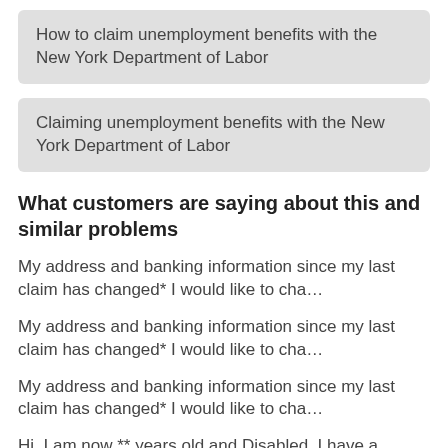How to claim unemployment benefits with the New York Department of Labor
Claiming unemployment benefits with the New York Department of Labor
What customers are saying about this and similar problems
My address and banking information since my last claim has changed* I would like to cha…
My address and banking information since my last claim has changed* I would like to cha…
My address and banking information since my last claim has changed* I would like to cha…
Hi. I am now ** years old and Disabled. I have a